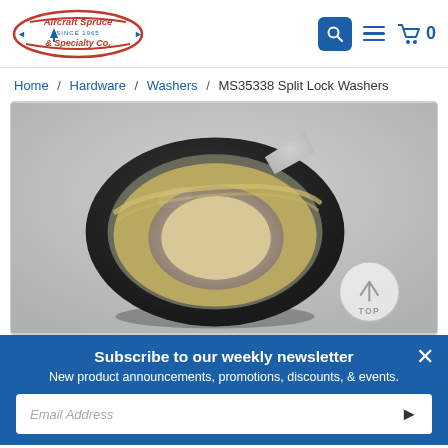[Figure (logo): Aircraft Spruce & Specialty Co. logo with red oval and tree emblem]
Home / Hardware / Washers / MS35338 Split Lock Washers
[Figure (photo): Close-up photo of a MS35338 split lock washer, dark metallic finish with visible gap and helical shape]
Subscribe to our weekly newsletter
New product announcements, promotions, discounts, & events.
Email Address